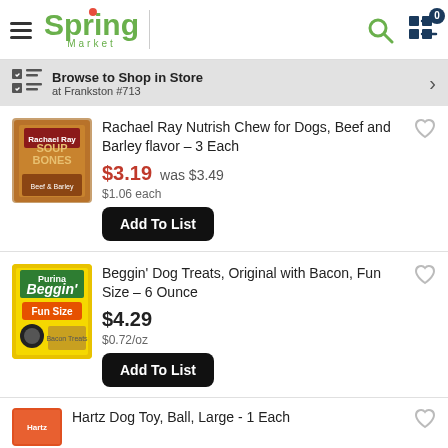Spring Market — Browse to Shop in Store at Frankston #713
Rachael Ray Nutrish Chew for Dogs, Beef and Barley flavor - 3 Each — $3.19 was $3.49, $1.06 each
Beggin' Dog Treats, Original with Bacon, Fun Size - 6 Ounce — $4.29, $0.72/oz
Hartz Dog Toy, Ball, Large - 1 Each